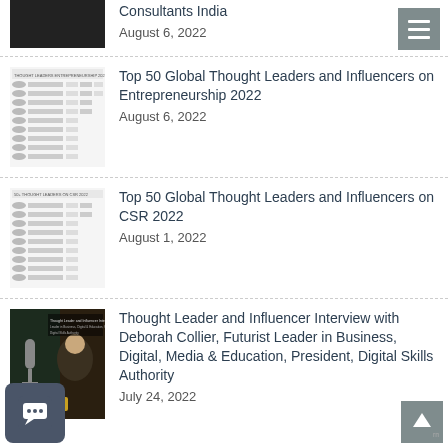Consultants India | August 6, 2022
Top 50 Global Thought Leaders and Influencers on Entrepreneurship 2022 | August 6, 2022
Top 50 Global Thought Leaders and Influencers on CSR 2022 | August 1, 2022
Thought Leader and Influencer Interview with Deborah Collier, Futurist Leader in Business, Digital, Media & Education, President, Digital Skills Authority | July 24, 2022